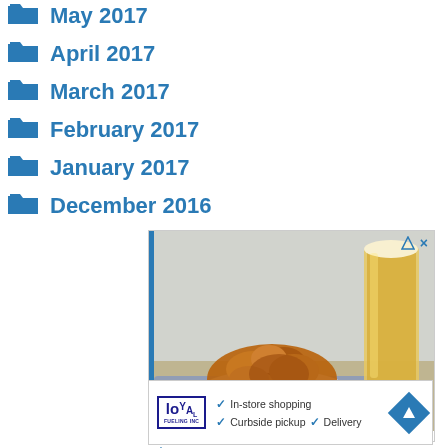May 2017
April 2017
March 2017
February 2017
January 2017
December 2016
[Figure (photo): Food advertisement showing a bowl of fried/seasoned food items on a blue cloth with a glass of beer beside it]
[Figure (infographic): Loyal brand advertisement with checkmarks for In-store shopping, Curbside pickup, and Delivery services with navigation icon]